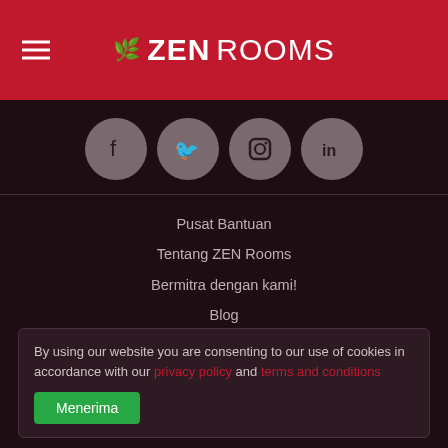ZEN Rooms
[Figure (logo): Social media icons: Facebook, Twitter, Instagram, LinkedIn in grey circles]
Pusat Bantuan
Tentang ZEN Rooms
Bermitra dengan kami!
Blog
Press & Media
Berkarier di ZEN Rooms? Lihat lowongan di sini!
Testimoni Pelanggan
By using our website you are consenting to our use of cookies in accordance with our privacy policy and terms and conditions